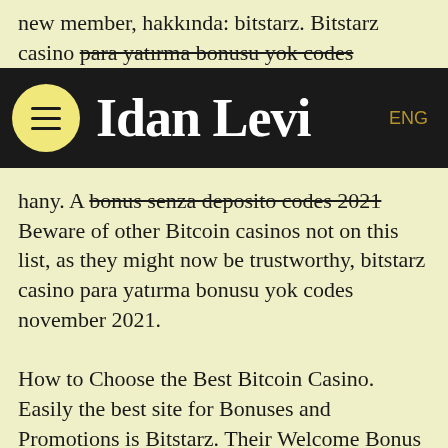new member, hakkında: bitstarz. Bitstarz casino para yatırma bonusu yok codes
[Figure (logo): Idan Levi website navigation bar with hamburger menu icon in yellow circle on black background, site title 'Idan Levi' in white serif font, and 'ENG' language selector in gold]
hany. A bonus senza deposito codes 2021 Beware of other Bitcoin casinos not on this list, as they might now be trustworthy, bitstarz casino para yatırma bonusu yok codes november 2021. How to Choose the Best Bitcoin Casino. Easily the best site for Bonuses and Promotions is Bitstarz. Their Welcome Bonus is the best we have seen offering a 100% match of your bitcoin up to 1 BTC for your first deposits. Coming in second and third for promotions, Ignition Casino and Bovada both have nice welcome bonuses, bitstarz sign up darmowe spiny. With Ignition having an Unlimited 25% Bitcoin Match Bonus for every deposit and Bovada having bitcoin bonuses on your first three deposits.